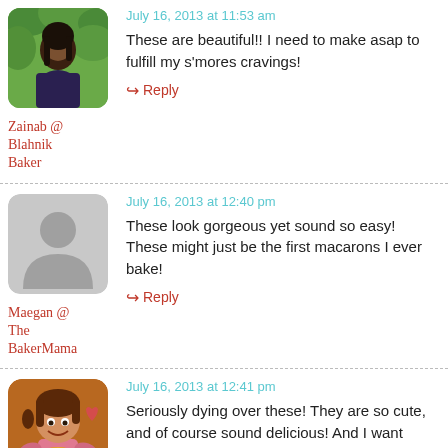[Figure (photo): Profile photo of Zainab, a woman with dark hair against green foliage background]
Zainab @ Blahnik Baker
July 16, 2013 at 11:53 am
These are beautiful!! I need to make asap to fulfill my s’mores cravings!
↪ Reply
[Figure (illustration): Generic gray placeholder avatar silhouette]
Maegan @ The BakerMama
July 16, 2013 at 12:40 pm
These look gorgeous yet sound so easy! These might just be the first macarons I ever bake!
↪ Reply
[Figure (illustration): Cartoon avatar of Carla, a girl with brown hair holding a pie, on orange/brown background]
Carla @
July 16, 2013 at 12:41 pm
Seriously dying over these! They are so cute, and of course sound delicious! And I want those mini skillets too!
↪ Reply